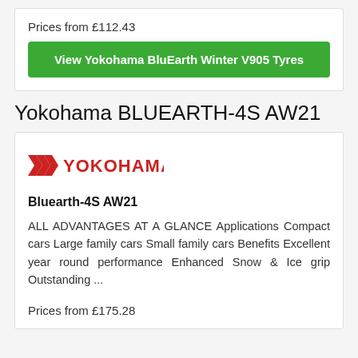Prices from £112.43
View Yokohama BluEarth Winter V905 Tyres
Yokohama BLUEARTH-4S AW21
[Figure (logo): Yokohama brand logo in red with chevron/arrow icon]
Bluearth-4S AW21
ALL ADVANTAGES AT A GLANCE Applications Compact cars Large family cars Small family cars Benefits Excellent year round performance Enhanced Snow & Ice grip Outstanding ...
Prices from £175.28